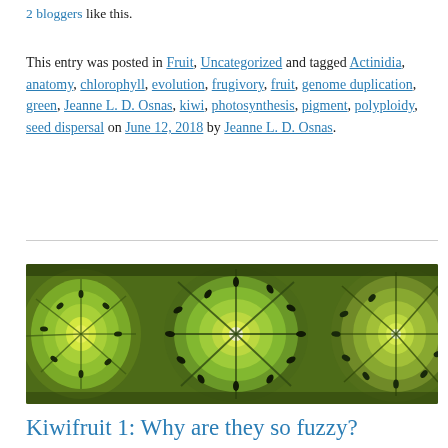2 bloggers like this.
This entry was posted in Fruit, Uncategorized and tagged Actinidia, anatomy, chlorophyll, evolution, frugivory, fruit, genome duplication, green, Jeanne L. D. Osnas, kiwi, photosynthesis, pigment, polyploidy, seed dispersal on June 12, 2018 by Jeanne L. D. Osnas.
[Figure (photo): Close-up photo of sliced kiwifruit showing green flesh, black seeds, and white core in a circular pattern]
Kiwifruit 1: Why are they so fuzzy?
9 Replies